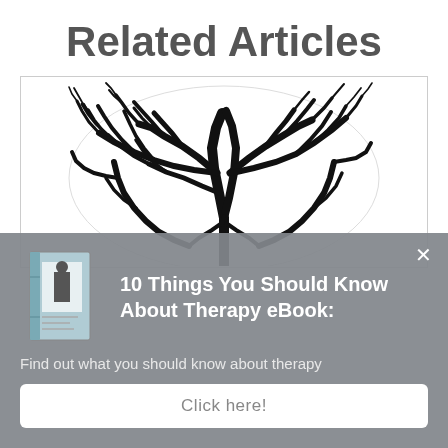Related Articles
[Figure (illustration): Black and white silhouette illustration of tree branches arranged in a circular brain-like shape, on white background inside a bordered card.]
10 Things You Should Know About Therapy eBook:
Find out what you should know about therapy
Click here!